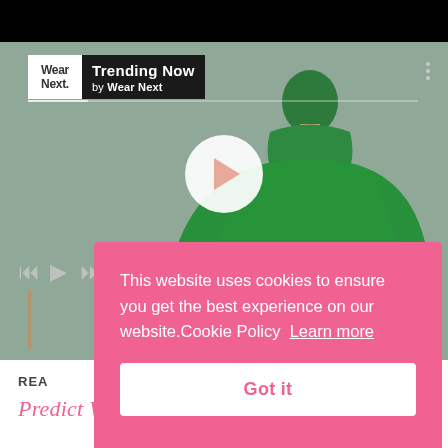[Figure (screenshot): Video player showing a fashion model in a green turtleneck dress seated on a stool, with Wear Next 'Trending Now' logo overlay, play button, video controls, and READ MORE button]
This website uses cookies to ensure you get the best experience on our website.Cookie Policy  Learn more
Got it
REA
Predict Will Be Big In 2022